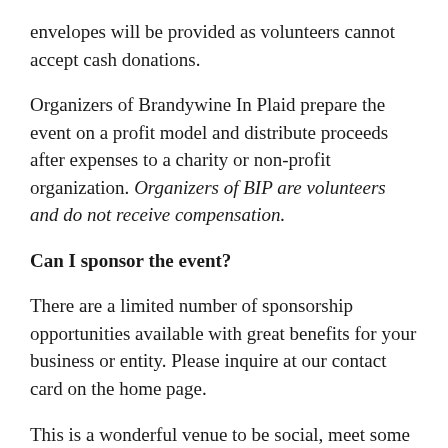envelopes will be provided as volunteers cannot accept cash donations.
Organizers of Brandywine In Plaid prepare the event on a profit model and distribute proceeds after expenses to a charity or non-profit organization. Organizers of BIP are volunteers and do not receive compensation.
Can I sponsor the event?
There are a limited number of sponsorship opportunities available with great benefits for your business or entity. Please inquire at our contact card on the home page.
This is a wonderful venue to be social, meet some new people, and have fun!